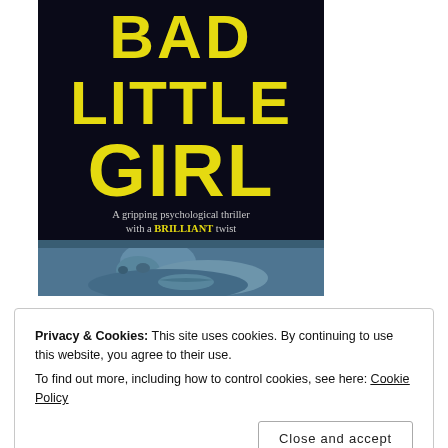[Figure (illustration): Book cover for 'Bad Little Girl' — a psychological thriller. Dark navy background with large distressed yellow block text reading 'BAD LITTLE GIRL'. Below the title: 'A gripping psychological thriller with a BRILLIANT twist' (BRILLIANT in yellow). Lower portion shows a close-up blue-tinted photograph of a child's face (nose, lips, cheek resting on a surface).]
Privacy & Cookies: This site uses cookies. By continuing to use this website, you agree to their use.
To find out more, including how to control cookies, see here: Cookie Policy
Close and accept